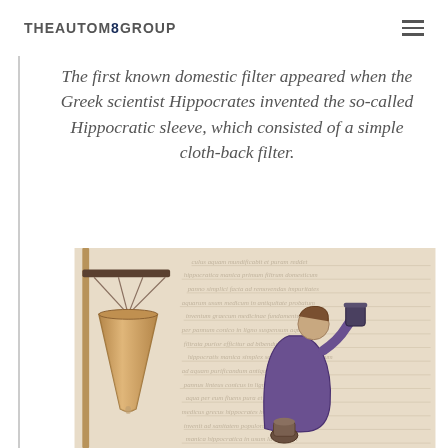THEAUTOM8GROUP
The first known domestic filter appeared when the Greek scientist Hippocrates invented the so-called Hippocratic sleeve, which consisted of a simple cloth-back filter.
[Figure (illustration): A medieval manuscript illustration showing a conical cloth filter (Hippocratic sleeve) suspended from a wooden frame on the left, and a robed figure drinking from a vessel on the right, with manuscript text visible in the background.]